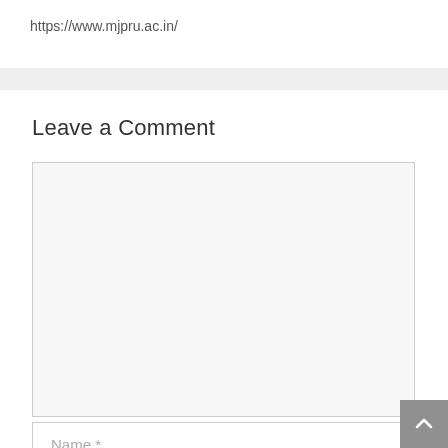https://www.mjpru.ac.in/
Leave a Comment
[Figure (screenshot): Empty comment textarea input box with light gray background and border]
Name *